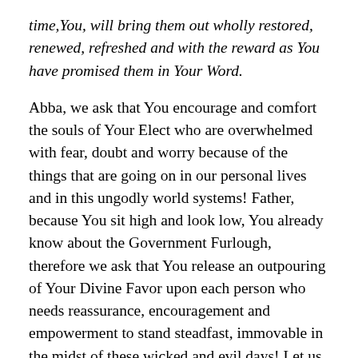time,You, will bring them out wholly restored, renewed, refreshed and with the reward as You have promised them in Your Word.
Abba, we ask that You encourage and comfort the souls of Your Elect who are overwhelmed with fear, doubt and worry because of the things that are going on in our personal lives and in this ungodly world systems! Father, because You sit high and look low, You already know about the Government Furlough, therefore we ask that You release an outpouring of Your Divine Favor upon each person who needs reassurance, encouragement and empowerment to stand steadfast, immovable in the midst of these wicked and evil days! Let us know that earth has no